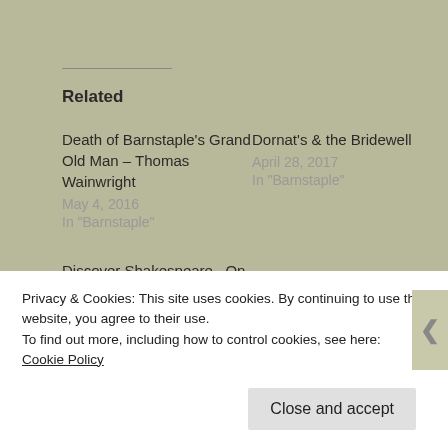Related
Death of Barnstaple's Grand Old Man – Thomas Wainwright
May 4, 2016
In "Barnstaple"
Dornat's & the Bridewell
April 28, 2017
In "Barnstaple"
Discover Shakespeare...On Our Shelves!
April 23, 2016
In "Discover...On Our Shelves!"
Privacy & Cookies: This site uses cookies. By continuing to use this website, you agree to their use.
To find out more, including how to control cookies, see here: Cookie Policy